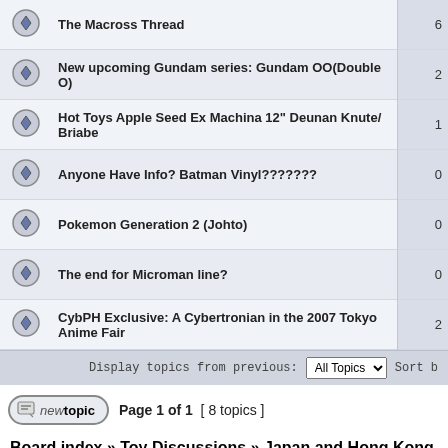The Macross Thread
New upcoming Gundam series: Gundam OO(Double O)
Hot Toys Apple Seed Ex Machina 12" Deunan Knute/ Briabe
Anyone Have Info? Batman Vinyl???????
Pokemon Generation 2 (Johto)
The end for Microman line?
CybPH Exclusive: A Cybertronian in the 2007 Tokyo Anime Fair
Display topics from previous: All Topics  Sort by
Page 1 of 1  [ 8 topics ]
Board index » Toy Discussions » Japan and Hong Kong Toys »
Who is online
Users browsing this forum: No registered users and 1 guest